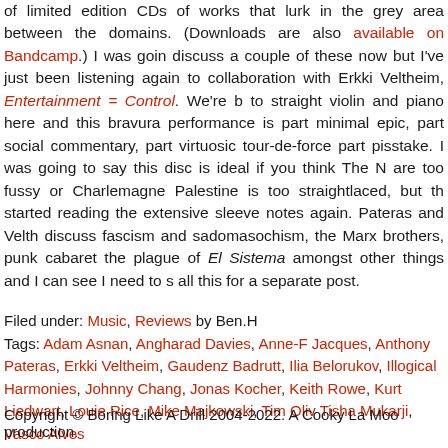of limited edition CDs of works that lurk in the grey area between the domains. (Downloads are also available on Bandcamp.) I was going to discuss a couple of these now but I've just been listening again to his collaboration with Erkki Veltheim, Entertainment = Control. We're back to straight violin and piano here and this bravura performance is part minimal epic, part social commentary, part virtuosic tour-de-force and part pisstake. I was going to say this disc is ideal if you think The Necks are too fussy or Charlemagne Palestine is too straightlaced, but then I started reading the extensive sleeve notes again. Pateras and Veltheim discuss fascism and sadomasochism, the Marx brothers, punk cabaret and the plague of El Sistema amongst other things and I can see I need to save all this for a separate post.
Filed under: Music, Reviews by Ben.H
Tags: Adam Asnan, Angharad Davies, Anne-F Jacques, Anthony Pateras, Erkki Veltheim, Gaudenz Badrutt, Ilia Belorukov, Illogical Harmonies, Johnny Chang, Jonas Kocher, Keith Rowe, Kurt Liedwart, Louie Rice, Mike Majkowski, Tim Oliver, Tisha Mukarji, Vasco Alves
2 Comments »
Copyright © Boring Like A Drill 2004-2022. A Cooky La Moo production.